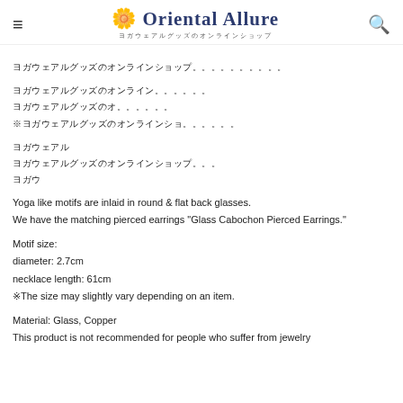Oriental Allure
ヨガウェアルグッズのオンラインショップ (Japanese text lines)
Japanese text block 1
Japanese text block 2
Yoga like motifs are inlaid in round & flat back glasses.
We have the matching pierced earrings "Glass Cabochon Pierced Earrings."
Motif size:
diameter: 2.7cm
necklace length: 61cm
※The size may slightly vary depending on an item.
Material: Glass, Copper
This product is not recommended for people who suffer from jewelry